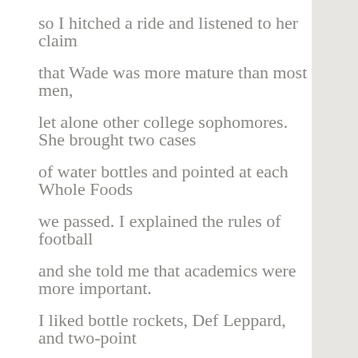so I hitched a ride and listened to her claim that Wade was more mature than most men, let alone other college sophomores. She brought two cases of water bottles and pointed at each Whole Foods we passed. I explained the rules of football and she told me that academics were more important. I liked bottle rockets, Def Leppard, and two-point conversions, and watched Wade barrel through the line while people asked if I was his son. Afterward the teacher wanted to go out, so Wade told me to watch a horror movie and said to close my eyes during the bad parts. The teacher